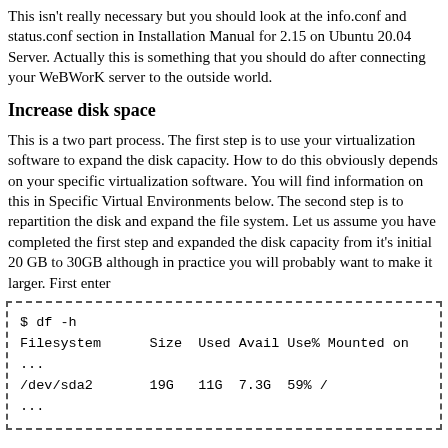This isn't really necessary but you should look at the info.conf and status.conf section in Installation Manual for 2.15 on Ubuntu 20.04 Server. Actually this is something that you should do after connecting your WeBWorK server to the outside world.
Increase disk space
This is a two part process. The first step is to use your virtualization software to expand the disk capacity. How to do this obviously depends on your specific virtualization software. You will find information on this in Specific Virtual Environments below. The second step is to repartition the disk and expand the file system. Let us assume you have completed the first step and expanded the disk capacity from it's initial 20 GB to 30GB although in practice you will probably want to make it larger. First enter
$ df -h
Filesystem      Size  Used Avail Use% Mounted on
...
/dev/sda2       19G   11G  7.3G  59% /
...